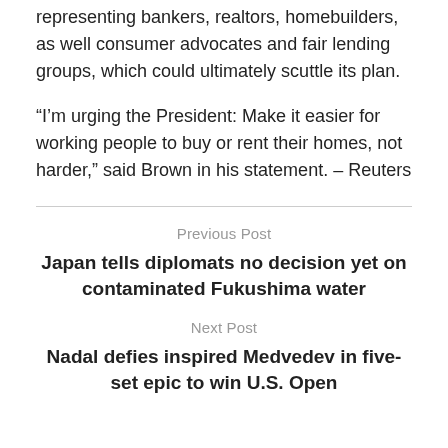representing bankers, realtors, homebuilders, as well consumer advocates and fair lending groups, which could ultimately scuttle its plan.
“I’m urging the President: Make it easier for working people to buy or rent their homes, not harder,” said Brown in his statement. – Reuters
Previous Post
Japan tells diplomats no decision yet on contaminated Fukushima water
Next Post
Nadal defies inspired Medvedev in five-set epic to win U.S. Open